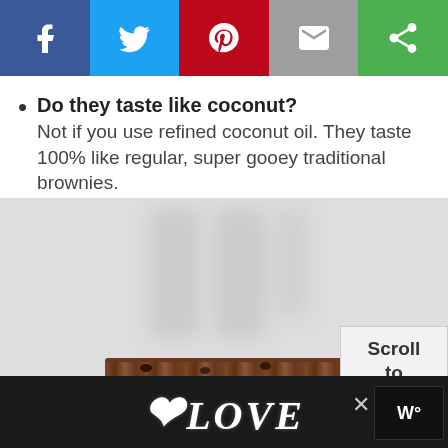[Figure (other): Social share bar with buttons for Facebook (blue), Twitter (light blue), Pinterest (red), Email (gray), and another share option (green)]
Do they taste like coconut? Not if you use refined coconut oil. They taste 100% like regular, super gooey traditional brownies.
[Figure (photo): Photo of a chocolate brownie slice with a blurry light background, shown at the bottom of the image frame. A 'Scroll to top' box overlaps the bottom-right corner.]
[Figure (other): Advertisement banner at the bottom showing decorative 'LOVE' text on dark background with a close button and logo on the right.]